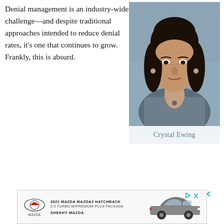Denial management is an industry-wide challenge—and despite traditional approaches intended to reduce denial rates, it's one that continues to grow. Frankly, this is absurd.
[Figure (photo): Portrait photograph of Crystal Ewing, a woman with dark hair wearing a grey top and white collar]
Crystal Ewing
[Figure (other): Advertisement controls: play triangle and X close button in teal/cyan color]
[Figure (other): Advertisement banner for 2021 Mazda Mazda3 Hatchback 2.5 Turbo w/Premium Plus Package from Sheehy Mazda, featuring Mazda logo and car image]